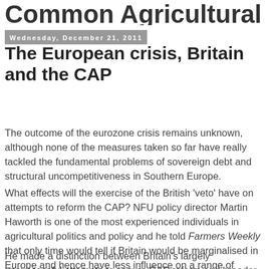Common Agricultural Policy
Wednesday, December 21, 2011
The European crisis, Britain and the CAP
The outcome of the eurozone crisis remains unknown, although none of the measures taken so far have really tackled the fundamental problems of sovereign debt and structural uncompetitiveness in Southern Europe.
What effects will the exercise of the British 'veto' have on attempts to reform the CAP? NFU policy director Martin Haworth is one of the most experienced individuals in agricultural politics and policy and he told Farmers Weekly that only time would tell if Britain would be marginalised in Europe and hence have less influence on a range of issues.
He made a distinction between Britain's largely unsuccessful attempts to secure CAP reform and broader efforts on regulation. He noted, 'The UK has pursued CAP reform